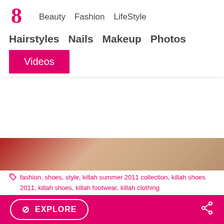Beauty  Fashion  LifeStyle
Hairstyles  Nails  Makeup  Photos
Videos
[Figure (photo): Partial view of a fashion/shoes image with red and beige tones]
fashion, shoes, style, killah summer 2011 collection, killah shoes 2011, killah shoes, killah footwear, killah clothing
Add a vibrant color splash to your warm season outfits with the hottest Killah shoes spring/summer 2011. Sport the comfiest and most flirtatious footwear to tame your cravings for a catchy style statement. ... Read More
Burberry Blue Label
EXPLORE